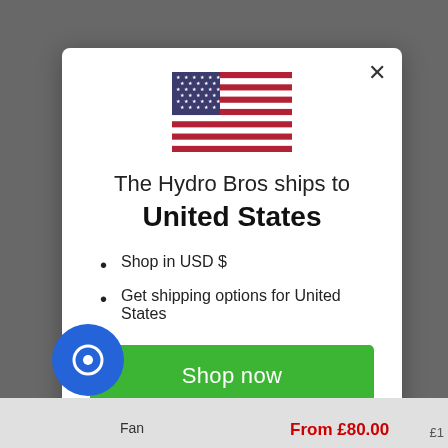[Figure (screenshot): Website modal popup showing The Hydro Bros ships to United States with US flag, shop in USD bullet points, green Shop now button, and Change shipping country link]
The Hydro Bros ships to United States
Shop in USD $
Get shipping options for United States
Shop now
Change shipping country